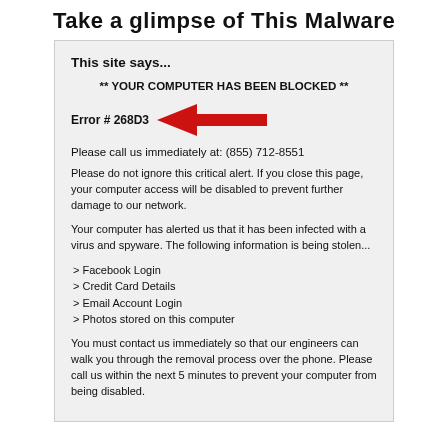Take a glimpse of This Malware
This site says...
** YOUR COMPUTER HAS BEEN BLOCKED **
[Figure (screenshot): Screenshot of a fake malware popup dialog with red arrow pointing to 'Error # 268D3']
Error # 268D3
Please call us immediately at: (855) 712-8551
Please do not ignore this critical alert.  If you close this page, your computer access will be disabled to prevent further damage to our network.
Your computer has alerted us that it has been infected with a virus and spyware.  The following information is being stolen...
> Facebook Login
> Credit Card Details
> Email Account Login
> Photos stored on this computer
You must contact us immediately so that our engineers can walk you through the removal process over the phone.  Please call us within the next 5 minutes to prevent your computer from being disabled.